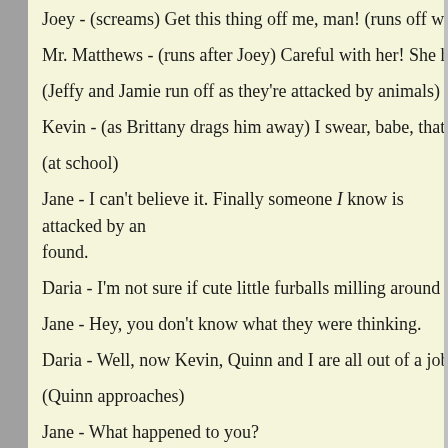Joey - (screams) Get this thing off me, man! (runs off with Joann...
Mr. Matthews - (runs after Joey) Careful with her! She has sensiti...
(Jeffy and Jamie run off as they're attacked by animals)
Kevin - (as Brittany drags him away) I swear, babe, that wasn't a s...
(at school)
Jane - I can't believe it. Finally someone I know is attacked by an... found.
Daria - I'm not sure if cute little furballs milling around your feet...
Jane - Hey, you don't know what they were thinking.
Daria - Well, now Kevin, Quinn and I are all out of a job -- which...
(Quinn approaches)
Jane - What happened to you?
Quinn - It's Daria's fault! You got too close to me with your stupio... and now I've got a rash! My neck modeling career is over! (runs o...
Daria - Hey.